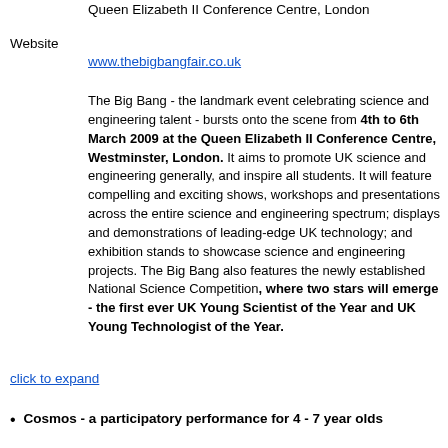Queen Elizabeth II Conference Centre, London
Website
www.thebigbangfair.co.uk
The Big Bang - the landmark event celebrating science and engineering talent - bursts onto the scene from 4th to 6th March 2009 at the Queen Elizabeth II Conference Centre, Westminster, London. It aims to promote UK science and engineering generally, and inspire all students. It will feature compelling and exciting shows, workshops and presentations across the entire science and engineering spectrum; displays and demonstrations of leading-edge UK technology; and exhibition stands to showcase science and engineering projects. The Big Bang also features the newly established National Science Competition, where two stars will emerge - the first ever UK Young Scientist of the Year and UK Young Technologist of the Year.
click to expand
Cosmos - a participatory performance for 4 - 7 year olds